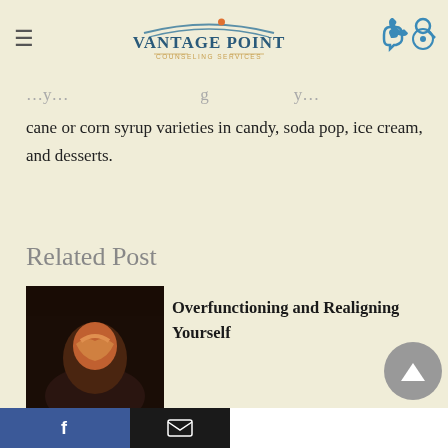Vantage Point Counseling Services
cane or corn syrup varieties in candy, soda pop, ice cream, and desserts.
Related Post
[Figure (photo): Person with hands clasped over their face, appearing stressed or distressed]
Overfunctioning and Realigning Yourself
[Figure (photo): Dark image of a person's face lit by a screen]
Compulsive Porn Use and Porn Addiction Symptoms